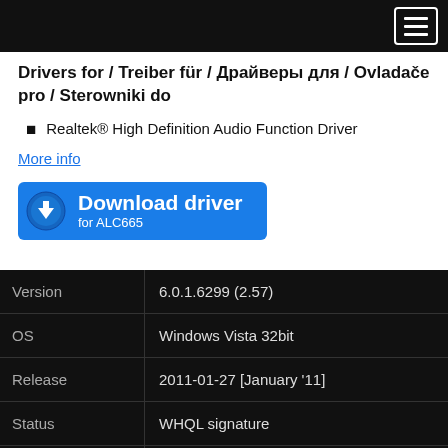Drivers for / Treiber für / Драйверы для / Ovladače pro / Sterowniki do
Realtek® High Definition Audio Function Driver
More info
Download driver for ALC665
|  |  |
| --- | --- |
| Version | 6.0.1.6299 (2.57) |
| OS | Windows Vista 32bit |
| Release | 2011-01-27 [January '11] |
| Status | WHQL signature |
| File | vista_win7_r257.exe |
| Downloaded | 8732× |